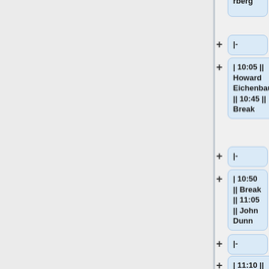rberg
|-
| 10:05 || Howard Eichenbaum || 10:45 || Break
|-
| 10:50 || Break || 11:05 || John Dunn
|-
| 11:10 || Keynote address: John Wixted || 11:25 || Dagmer Zeithamova
|-